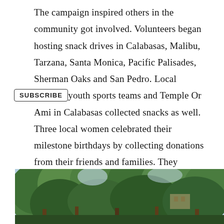The campaign inspired others in the community got involved. Volunteers began hosting snack drives in Calabasas, Malibu, Tarzana, Santa Monica, Pacific Palisades, Sherman Oaks and San Pedro. Local schools, youth sports teams and Temple Or Ami in Calabasas collected snacks as well. Three local women celebrated their milestone birthdays by collecting donations from their friends and families. They purchased more than 5,000 snacks to contribute. No wonder they have gotten noticed by local news networks.
SUBSCRIBE
[Figure (photo): Outdoor photo showing trees with green foliage and glimpses of a building in the background under a bright sky.]